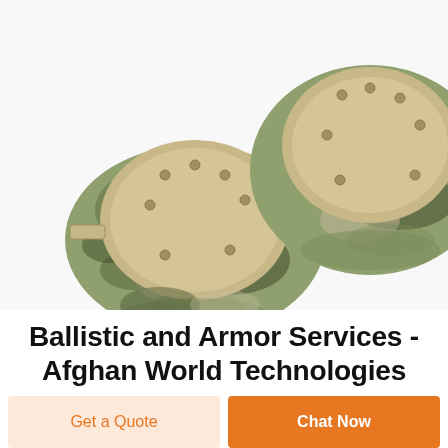[Figure (photo): Two military camouflage knee pads with tan/beige hard caps and velcro straps, shown from above on a white background. Multicam pattern fabric.]
Ballistic and Armor Services - Afghan World Technologies
Hard Armor Plates. We keep you safe! Hard armor plates are usually used in conjunction with bulletproof vests, and
Get a Quote
Chat Now